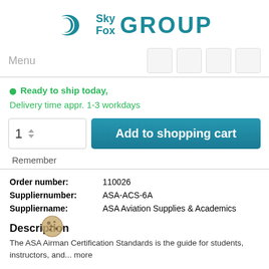[Figure (logo): SkyFox GROUP logo with crescent moon icon in teal]
Menu
Ready to ship today,
Delivery time appr. 1-3 workdays
Add to shopping cart
Remember
| Order number: | 110026 |
| Suppliernumber: | ASA-ACS-6A |
| Suppliername: | ASA Aviation Supplies & Academics |
Description
The ASA Airman Certification Standards is the guide for students, instructors, and... more